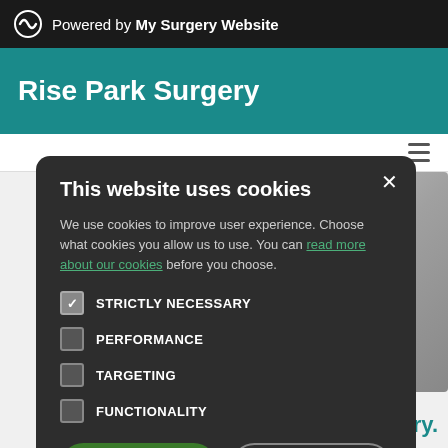Powered by My Surgery Website
Rise Park Surgery
This website uses cookies
We use cookies to improve user experience. Choose what cookies you allow us to use. You can read more about our cookies before you choose.
STRICTLY NECESSARY
PERFORMANCE
TARGETING
FUNCTIONALITY
ACCEPT ALL
DECLINE ALL